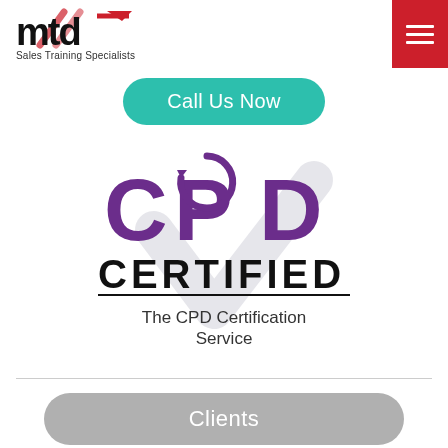[Figure (logo): MTD Sales Training Specialists logo — black 'mtd' text with red arrow, tagline 'Sales Training Specialists' below]
[Figure (other): Red hamburger menu button with three white horizontal lines]
Call Us Now
[Figure (logo): CPD Certified logo — purple 'CPD' letters with circular arrow, bold black 'CERTIFIED' text, underline, and 'The CPD Certification Service' below, with a faint watermark checkmark in the background]
Clients